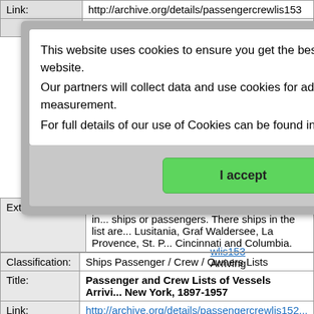| Field | Value |
| --- | --- |
| Link: | http://archive.org/details/passengercrewlis153... |
|  | Arriving... |
|  | ...be an in... be only ...rinz Wil... |
|  | s |
|  | ls Arrivi... |
|  | wlis153... Arriving... |
| Extra Info: | Online book. There does not seem to be an in... ships or passengers. There ships in the list are... Lusitania, Graf Waldersee, La Provence, St. P... Cincinnati and Columbia. |
This website uses cookies to ensure you get the best experience on our website. Our partners will collect data and use cookies for ad personalization and measurement. For full details of our use of Cookies can be found in our Privacy Policy
I accept
| Field | Value |
| --- | --- |
| Classification: | Ships Passenger / Crew / Owners Lists |
| Title: | Passenger and Crew Lists of Vessels Arrivi... New York, 1897-1957 |
| Link: | http://archive.org/details/passengercrewlis152... |
| Description: | Passenger and Crew Lists of Vessels Arriving New York, 1897-1957 |